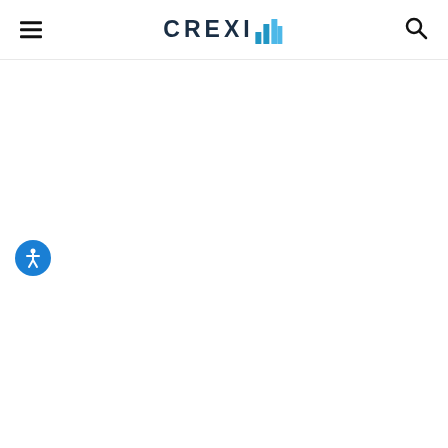CREXI
[Figure (logo): CREXI logo with stylized blue building/bar chart icon to the right of the text. Navigation header with hamburger menu on the left and search icon on the right.]